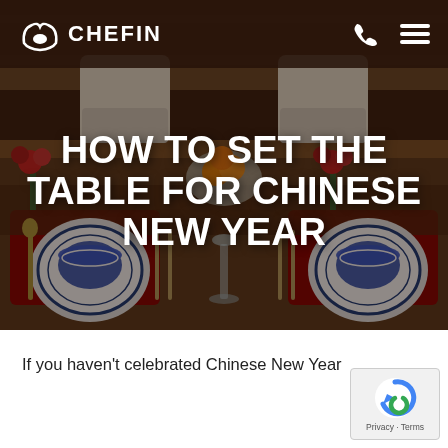CHEFIN
[Figure (photo): A Chinese New Year dining table set with red placemats, blue and white porcelain bowls on decorative plates, gold forks, floral centerpieces with red flowers, oranges in a bowl, and white chairs in the background.]
HOW TO SET THE TABLE FOR CHINESE NEW YEAR
If you haven't celebrated Chinese New Year